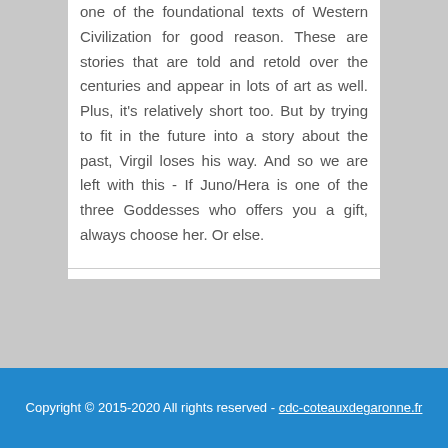one of the foundational texts of Western Civilization for good reason. These are stories that are told and retold over the centuries and appear in lots of art as well. Plus, it's relatively short too. But by trying to fit in the future into a story about the past, Virgil loses his way. And so we are left with this - If Juno/Hera is one of the three Goddesses who offers you a gift, always choose her. Or else.
Copyright © 2015-2020 All rights reserved - cdc-coteauxdegaronne.fr